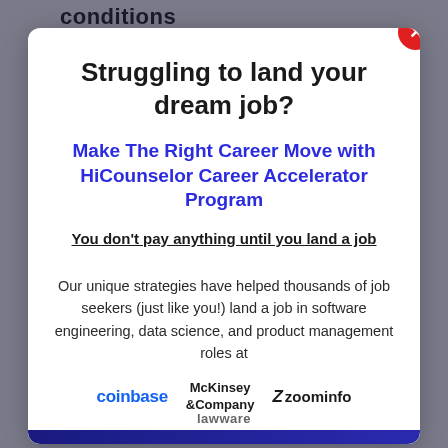conditions
Struggling to land your dream job?
Make The Right Career Move with HiCounselor Career Accelerator Program
You don't pay anything until you land a job
Our unique strategies have helped thousands of job seekers (just like you!) land a job in software engineering, data science, and product management roles at
[Figure (logo): Logos of coinbase, McKinsey & Company, and zoominfo displayed in a row]